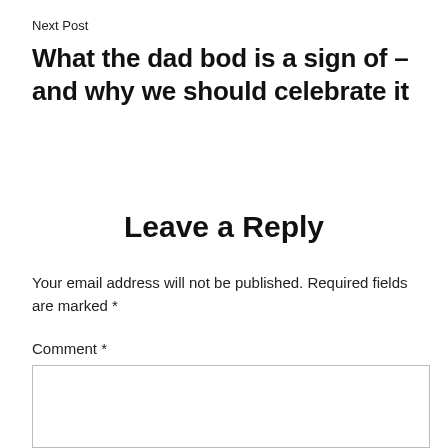Next Post
What the dad bod is a sign of – and why we should celebrate it
Leave a Reply
Your email address will not be published. Required fields are marked *
Comment *